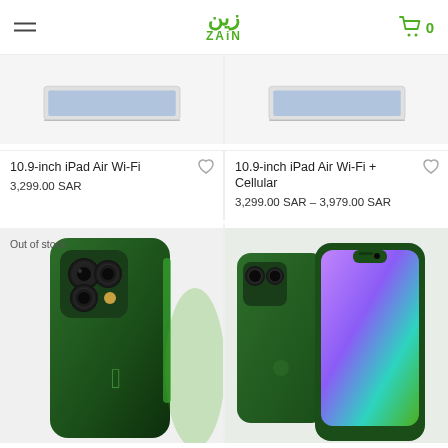Zain — navigation header with logo, hamburger menu, and cart icon showing 0
[Figure (illustration): 10.9-inch iPad Air Wi-Fi product image (top portion, light background)]
10.9-inch iPad Air Wi-Fi
3,299.00 SAR
[Figure (illustration): 10.9-inch iPad Air Wi-Fi + Cellular product image (top portion, light background)]
10.9-inch iPad Air Wi-Fi + Cellular
3,299.00 SAR – 3,979.00 SAR
[Figure (photo): iPhone 13 Pro in Alpine Green color, showing back with triple camera. Labeled Out of stock.]
[Figure (photo): iPhone 13 in Green color, showing front and back views with purple-teal display.]